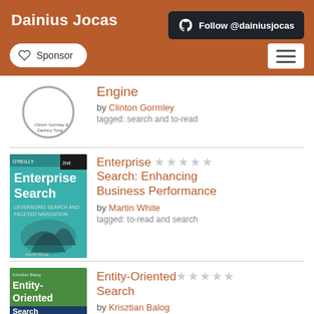Dainius Jocas
Follow @dainiusjocas
Sponsor
Engine
by Clinton Gormley
tagged: search and to-read
Enterprise Search: Enhancing Business Performance
by Martin White
tagged: to-read and search
Entity-Oriented Search
by Krisztian Balog
tagged: search and currently-reading